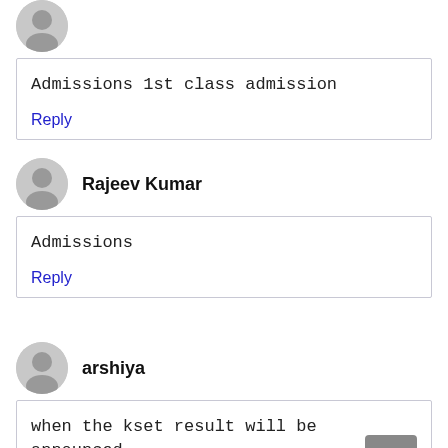Admissions 1st class admission
Reply
Rajeev Kumar
Admissions
Reply
arshiya
when the kset result will be announced
Reply